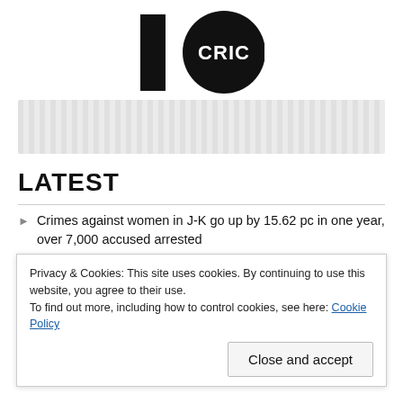[Figure (logo): 10CRIC logo — black numeral 1 beside a black circle with white text CRIC]
[Figure (other): Gray striped advertisement banner placeholder]
LATEST
Crimes against women in J-K go up by 15.62 pc in one year, over 7,000 accused arrested
Mainly clear weather today, possibility of light rain for
Privacy & Cookies: This site uses cookies. By continuing to use this website, you agree to their use. To find out more, including how to control cookies, see here: Cookie Policy
Close and accept
Non-Local Shot at, injured in Pulwama, hospitalized